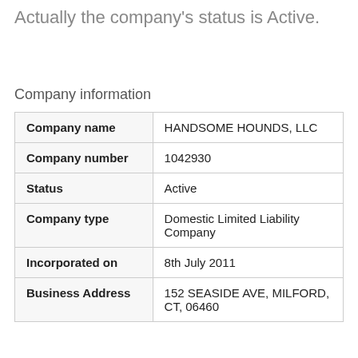Actually the company's status is Active.
Company information
| Company name | HANDSOME HOUNDS, LLC |
| Company number | 1042930 |
| Status | Active |
| Company type | Domestic Limited Liability Company |
| Incorporated on | 8th July 2011 |
| Business Address | 152 SEASIDE AVE, MILFORD, CT, 06460 |